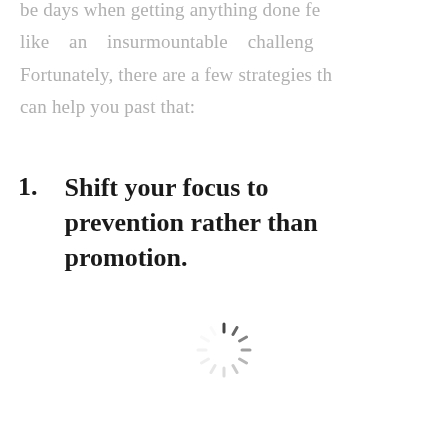be days when getting anything done feel like an insurmountable challenge. Fortunately, there are a few strategies that can help you past that:
1. Shift your focus to prevention rather than promotion.
[Figure (other): A loading spinner / activity indicator graphic, showing radial dashes arranged in a circle, in dark gray color.]